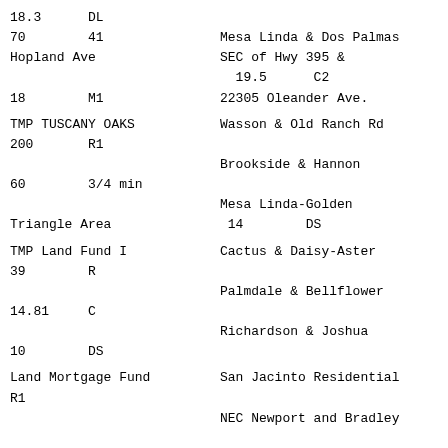18.3    DL
70      41
Hopland Ave
18      M1
Mesa Linda & Dos Palmas
SEC of Hwy 395 &
  19.5      C2
22305 Oleander Ave.
TMP TUSCANY OAKS
200       R1
60      3/4 min
Triangle Area
Wasson & Old Ranch Rd
Brookside & Hannon
Mesa Linda-Golden
 14        DS
TMP Land Fund I
39       R
14.81    C
10       DS
Cactus & Daisy-Aster
Palmdale & Bellflower
Richardson & Joshua
Land Mortgage Fund
R1
San Jacinto Residential
NEC Newport and Bradley